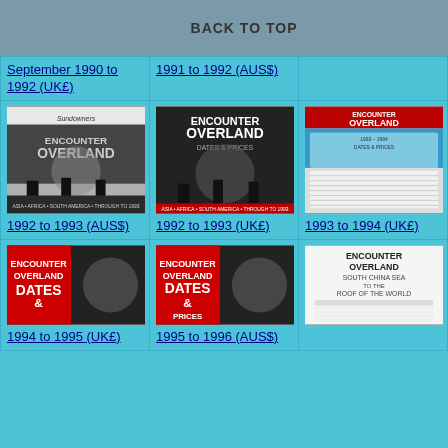BACK TO TOP
September 1990 to 1992 (UK£)
1991 to 1992 (AUS$)
[Figure (photo): Cover of Encounter Overland brochure 1992-1993 AUS$, showing camels silhouetted against a globe]
1992 to 1993 (AUS$)
[Figure (photo): Cover of Encounter Overland brochure 1992-1993 UK£, showing camels silhouetted against a globe]
1992 to 1993 (UK£)
[Figure (photo): Cover of Encounter Overland dates & prices brochure 1993-1994 UK£, with a truck and table of prices]
1993 to 1994 (UK£)
[Figure (photo): Cover of Encounter Overland dates & prices brochure 1994-1995 UK£]
1994 to 1995 (UK£)
[Figure (photo): Cover of Encounter Overland dates & prices brochure 1995-1996 AUS$]
1995 to 1996 (AUS$)
[Figure (photo): Cover of Encounter Overland South China Sea to the Roof of the World brochure with price table]